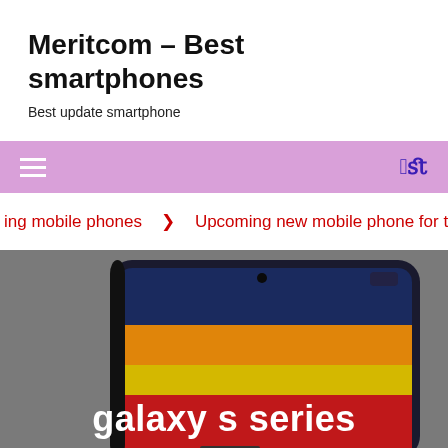Meritcom – Best smartphones
Best update smartphone
Navigation bar with hamburger menu and search icon
ing mobile phones  ❯  Upcoming new mobile phone for this year
[Figure (photo): A Samsung Galaxy S series smartphone displayed at an angle on a grey background, showing a colorful wallpaper with red, orange, yellow, and dark blue sections. Text overlay reads 'galaxy s series' in white bold font.]